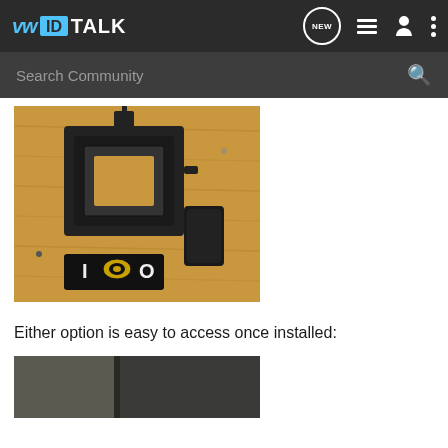VWIDTALK
Search Community
[Figure (photo): Black 3D printed bracket/mount component disassembled on a wooden surface, with a small rectangular piece and a tag showing '1 0']
Either option is easy to access once installed:
[Figure (photo): Partial view of a dark surface, beginning of another photo]